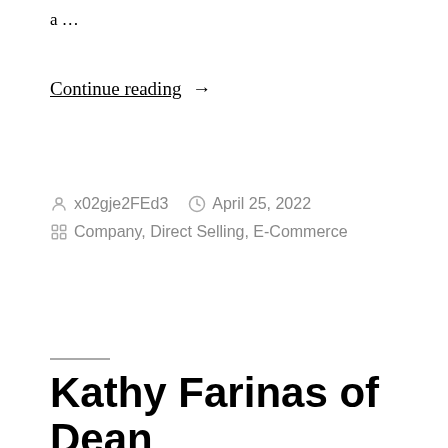a …
Continue reading →
Posted by x02gje2FEd3   April 25, 2022
Posted in Company, Direct Selling, E-Commerce
Kathy Farinas of Dean Omar Shining…